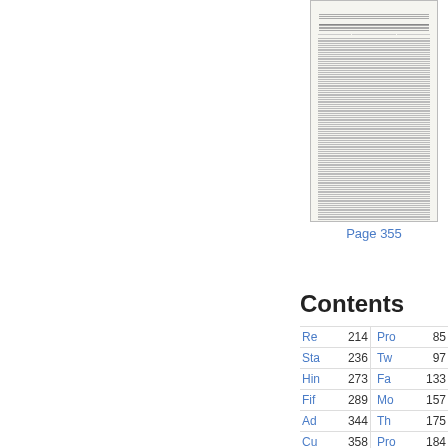[Figure (screenshot): Thumbnail image of a government document page showing a table with dense numerical data, page 355.]
Page 355
Contents
| Entry | Page | Entry | Page |
| --- | --- | --- | --- |
| Re | 214 | Pro | 85 |
| Sta | 236 | Tw | 97 |
| Hin | 273 | Fa | 133 |
| Fif | 289 | Mo | 157 |
| Ad | 344 | Th | 175 |
| Cu | 358 | Pro | 184 |
| Sk | 1 | 13: | 190 |